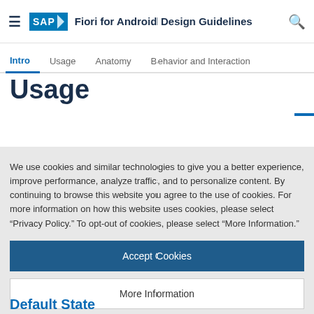Fiori for Android Design Guidelines
Intro | Usage | Anatomy | Behavior and Interaction
Usage
We use cookies and similar technologies to give you a better experience, improve performance, analyze traffic, and to personalize content. By continuing to browse this website you agree to the use of cookies. For more information on how this website uses cookies, please select “Privacy Policy.” To opt-out of cookies, please select “More Information.”
Accept Cookies
More Information
Privacy Policy | Powered by: TrustArc
Default State